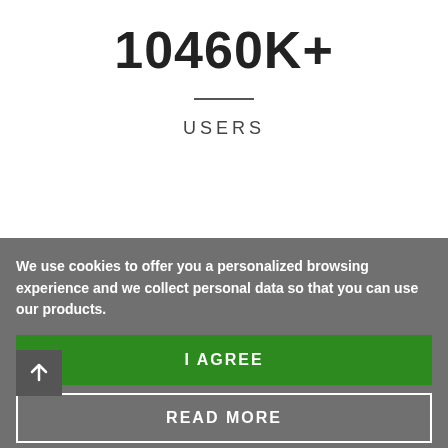10460K+
USERS
We use cookies to offer you a personalized browsing experience and we collect personal data so that you can use our products.
I AGREE
READ MORE